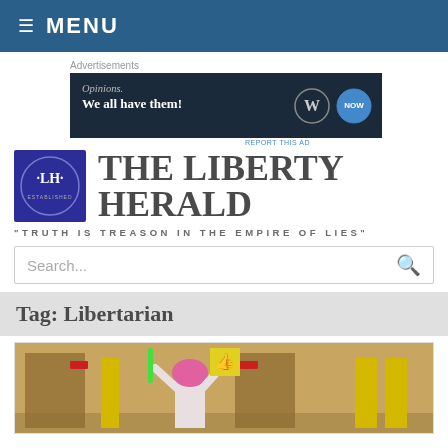MENU
Advertisements
[Figure (other): Advertisement banner: 'Opinions. We all have them!' with WordPress logo]
THE LIBERTY HERALD
"TRUTH IS TREASON IN THE EMPIRE OF LIES"
Search...
Tag: Libertarian
[Figure (photo): Photo of person in pink hair holding a thumbs-up sign and light saber at an indoor convention-type event]